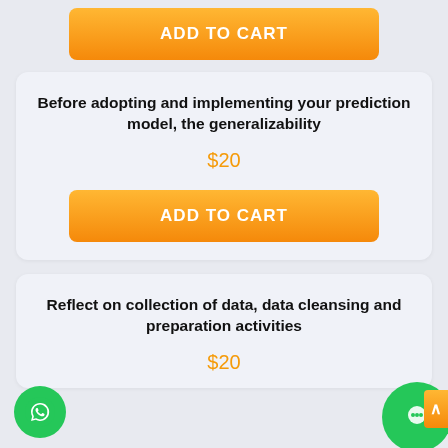[Figure (other): ADD TO CART orange gradient button at top of page]
Before adopting and implementing your prediction model, the generalizability
$20
[Figure (other): ADD TO CART orange gradient button]
Reflect on collection of data, data cleansing and preparation activities
$20
[Figure (other): WhatsApp green circle icon bottom left and chat circle icon bottom right with orange scroll-up bar]